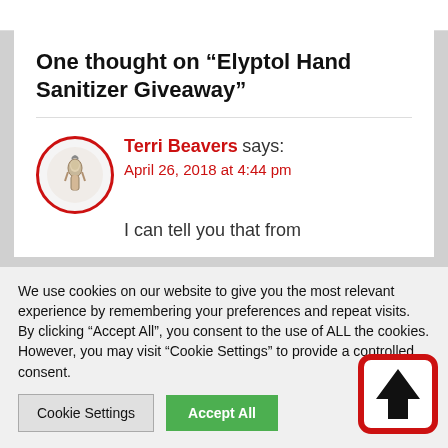One thought on “Elyptol Hand Sanitizer Giveaway”
Terri Beavers says: April 26, 2018 at 4:44 pm
I can tell you that from
We use cookies on our website to give you the most relevant experience by remembering your preferences and repeat visits. By clicking “Accept All”, you consent to the use of ALL the cookies. However, you may visit “Cookie Settings” to provide a controlled consent.
[Figure (other): Scroll-to-top button: red rounded-rectangle border with an upward-pointing black arrow]